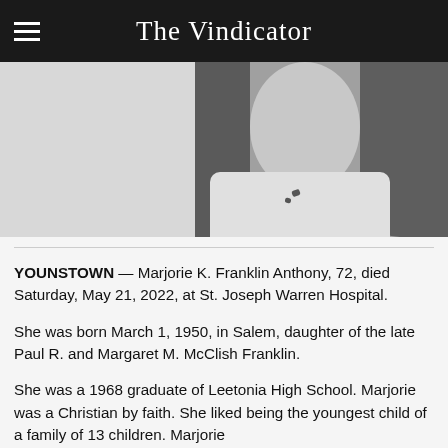The Vindicator
[Figure (photo): Black and white close-up photograph of a person's neck/lower face area, hair visible on both sides]
YOUNSTOWN — Marjorie K. Franklin Anthony, 72, died Saturday, May 21, 2022, at St. Joseph Warren Hospital.
She was born March 1, 1950, in Salem, daughter of the late Paul R. and Margaret M. McClish Franklin.
She was a 1968 graduate of Leetonia High School. Marjorie was a Christian by faith. She liked being the youngest child of a family of 13 children. Marjorie